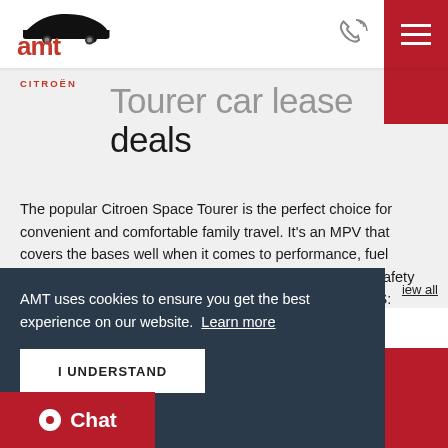AMT logo | phone icon | hamburger menu
CITROËN
Tourer car lease deals
The popular Citroen Space Tourer is the perfect choice for convenient and comfortable family travel. It's an MPV that covers the bases well when it comes to performance, fuel efficiency and practicality. Boasting a 5-star EuroNCap Safety Rating, the Space Tourer is available in three lengths (XS: 4.6m, M:
iew all
AMT uses cookies to ensure you get the best experience on our website. Learn more
I UNDERSTAND
Chat